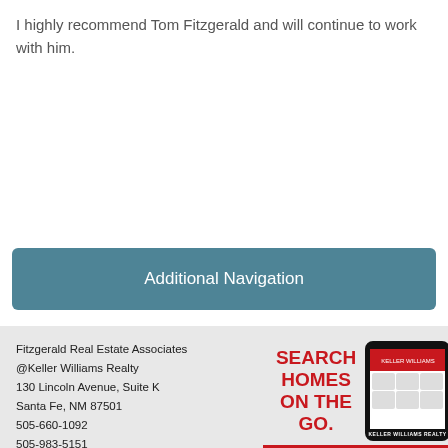I highly recommend Tom Fitzgerald and will continue to work with him.
Additional Navigation
Fitzgerald Real Estate Associates @Keller Williams Realty
130 Lincoln Avenue, Suite K
Santa Fe, NM 87501
505-660-1092
505-983-5151
www.santafehomes-forsale.com
[Figure (infographic): Search Homes On The Go promotional graphic with red text and a smartphone showing the Keller Williams Realty app]